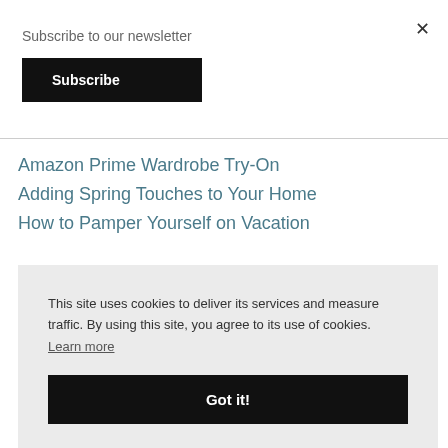Subscribe to our newsletter
Subscribe
Amazon Prime Wardrobe Try-On
Adding Spring Touches to Your Home
How to Pamper Yourself on Vacation
This site uses cookies to deliver its services and measure traffic. By using this site, you agree to its use of cookies. Learn more
Got it!